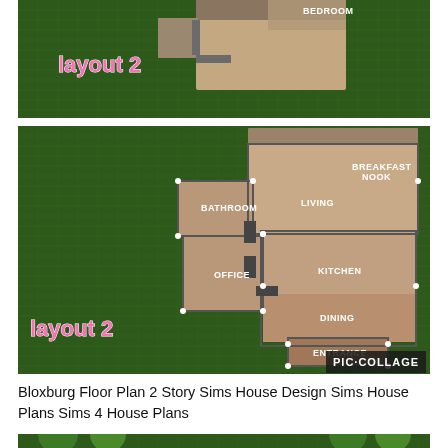[Figure (illustration): Top portion of a Bloxburg/Sims style house floor plan from above, showing a 'layout 2' label in pink cursive text, with a bedroom visible on the dark green grid background.]
[Figure (illustration): Main floor plan view labeled 'layout 2' in pink cursive on dark green grid. Shows rooms labeled: BATHROOM, LIVING, BREAKFAST NOOK, OFFICE, KITCHEN, DINING, ENTRANCE. PIC·COLLAGE watermark in bottom right corner.]
Bloxburg Floor Plan 2 Story Sims House Design Sims House Plans Sims 4 House Plans
[Figure (illustration): Bottom portion showing an outdoor area with a swimming pool (light blue rectangle) surrounded by trees/shrubs on a green background.]